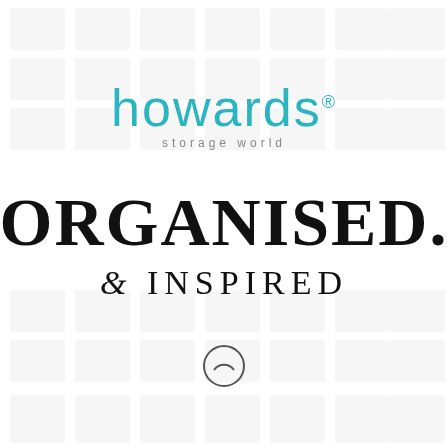[Figure (logo): Howards Storage World logo — 'howards' in teal/cyan rounded sans-serif font with registered trademark symbol, 'storage world' in grey below]
ORGANISED.
& INSPIRED
[Figure (other): Home button icon — a circle with a small arc suggesting a phone home button]